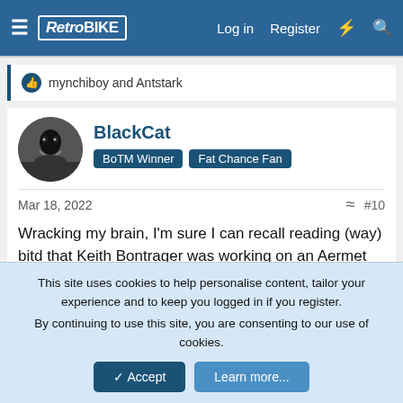RetroBike — Log in | Register
mynchiboy and Antstark
BlackCat
BoTM Winner  Fat Chance Fan
Mar 18, 2022  #10
Wracking my brain, I'm sure I can recall reading (way) bitd that Keith Bontrager was working on an Aermet frame. Never seen it.

What about that prototype Yeti ARC LT with carbon (or carbon wrapped) tubes a la C-26? Can vaguely recall a trade show pic (for some reason I think it had Penske forks)
This site uses cookies to help personalise content, tailor your experience and to keep you logged in if you register.
By continuing to use this site, you are consenting to our use of cookies.